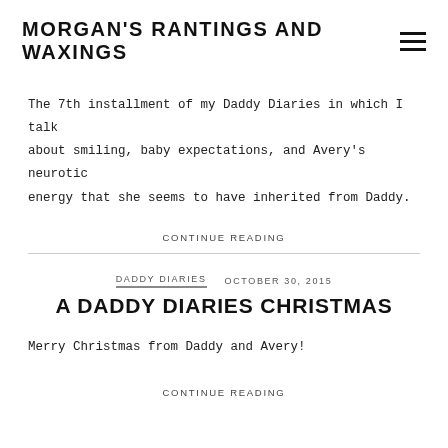MORGAN'S RANTINGS AND WAXINGS
The 7th installment of my Daddy Diaries in which I talk about smiling, baby expectations, and Avery’s neurotic energy that she seems to have inherited from Daddy.
CONTINUE READING
DADDY DIARIES   OCTOBER 30, 2015
A DADDY DIARIES CHRISTMAS
Merry Christmas from Daddy and Avery!
CONTINUE READING